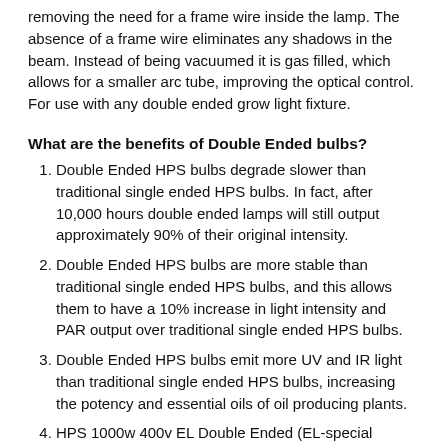removing the need for a frame wire inside the lamp. The absence of a frame wire eliminates any shadows in the beam. Instead of being vacuumed it is gas filled, which allows for a smaller arc tube, improving the optical control. For use with any double ended grow light fixture.
What are the benefits of Double Ended bulbs?
Double Ended HPS bulbs degrade slower than traditional single ended HPS bulbs. In fact, after 10,000 hours double ended lamps will still output approximately 90% of their original intensity.
Double Ended HPS bulbs are more stable than traditional single ended HPS bulbs, and this allows them to have a 10% increase in light intensity and PAR output over traditional single ended HPS bulbs.
Double Ended HPS bulbs emit more UV and IR light than traditional single ended HPS bulbs, increasing the potency and essential oils of oil producing plants.
HPS 1000w 400v EL Double Ended (EL-special designed for electronics)
Highest Micromole output in the industry.